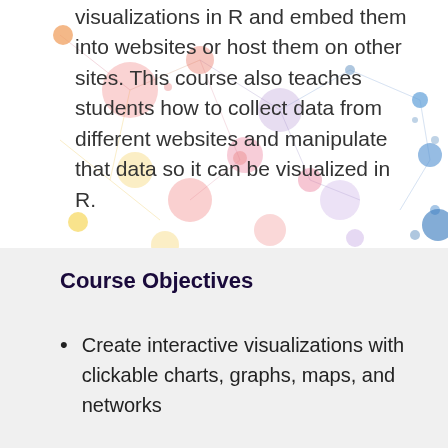visualizations in R and embed them into websites or host them on other sites. This course also teaches students how to collect data from different websites and manipulate that data so it can be visualized in R.
[Figure (illustration): Decorative network graph background with colorful nodes and connecting lines in pink, orange, yellow, blue, and purple tones]
Course Objectives
Create interactive visualizations with clickable charts, graphs, maps, and networks